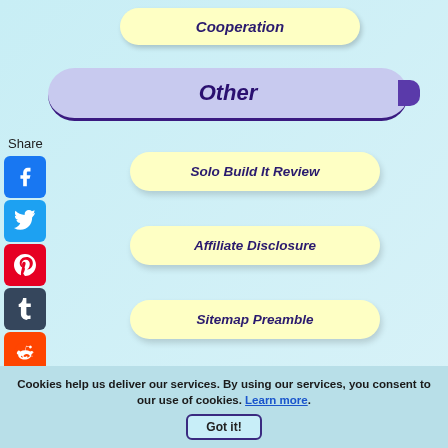Cooperation
Other
Share
Solo Build It Review
Affiliate Disclosure
Sitemap Preamble
? Your Questions ?
Cookies help us deliver our services. By using our services, you consent to our use of cookies. Learn more. Got it!